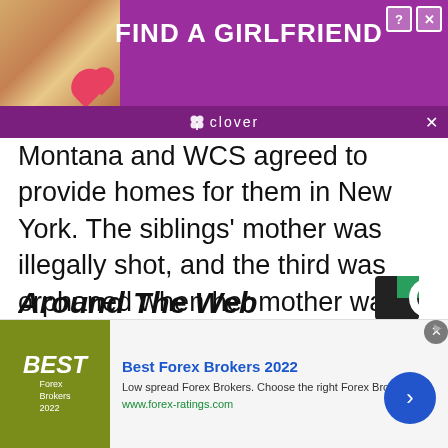[Figure (other): Advertisement banner: 'FIND A GIRLFRIEND' on purple background with clover branding and woman photo]
Montana and WCS agreed to provide homes for them in New York. The siblings' mother was illegally shot, and the third was orphaned when her mother was euthanized by officials after repeatedly entering residential areas to forage for food. The cubs were too young to survive on their own and could not be released.
Around The Web
[Figure (logo): Circular C logo in black and green]
[Figure (other): Advertisement: Best Forex Brokers 2022 - Low spread Forex Brokers. Choose the right Forex Broker now! www.forex-ratings.com]